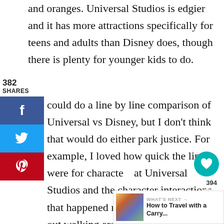Orlando theme park but they are truly apples and oranges. Universal Studios is edgier and it has more attractions specifically for teens and adults than Disney does, though there is plenty for younger kids to do.
382 SHARES
could do a line by line comparison of Universal vs Disney, but I don't think that would do either park justice. For example, I loved how quick the lines were for characters at Universal Studios and the character interactions that happened naturally having them out walking around – but, on the
394
WHAT'S NEXT → How to Travel with a Carry...